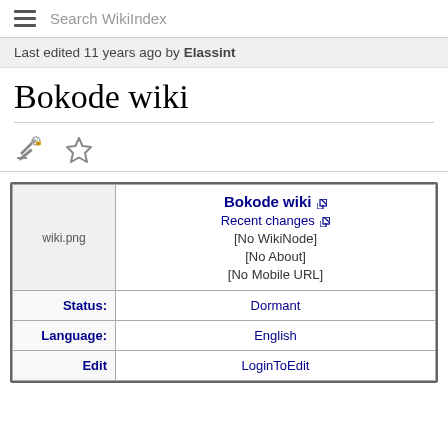Search WikiIndex
Last edited 11 years ago by Elassint
Bokode wiki
| wiki.png | Bokode wiki [ext] | Recent changes [ext] | [No WikiNode] | [No About] | [No Mobile URL] |
| Status: | Dormant |
| Language: | English |
| Edit | LoginToEdit |